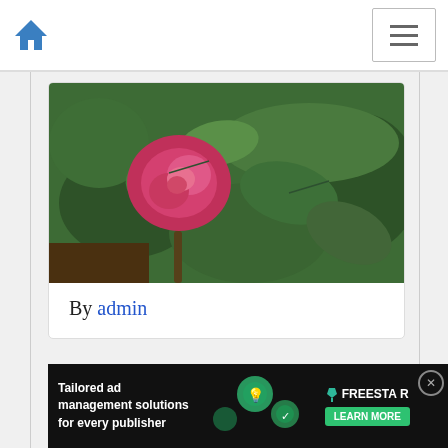Home navigation header with hamburger menu
[Figure (photo): Close-up photo of a pink/magenta rose bloom surrounded by green leaves]
By admin
[Figure (photo): Photo of Chrysler Imperial rose variety with a sign reading CHRYSLER IMPERIAL, showing deep red roses among green foliage]
[Figure (infographic): Advertisement banner: Tailored ad management solutions for every publisher — Freestar LEARN MORE]